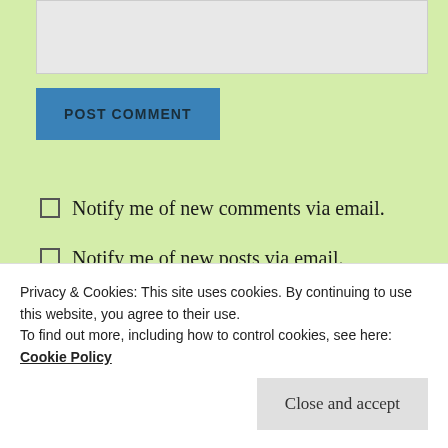[Figure (other): Text input area / comment textarea box (grey background)]
POST COMMENT
Notify me of new comments via email.
Notify me of new posts via email.
PREVIOUS POST
Russia to Spain Tour Leg 20 – Cairnryan
Privacy & Cookies: This site uses cookies. By continuing to use this website, you agree to their use.
To find out more, including how to control cookies, see here:
Cookie Policy
Close and accept